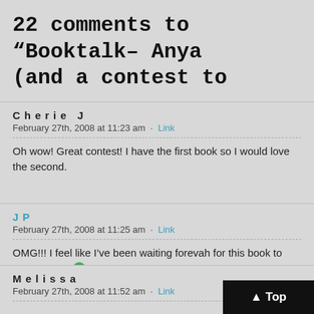22 comments to “Booktalk– Anya… (and a contest to…
Cherie J
February 27th, 2008 at 11:23 am · Link
Oh wow! Great contest! I have the first book so I would love the second.
JP
February 27th, 2008 at 11:25 am · Link
OMG!!! I feel like I've been waiting forevah for this book to come out!!!!
Melissa
February 27th, 2008 at 11:52 am · Link